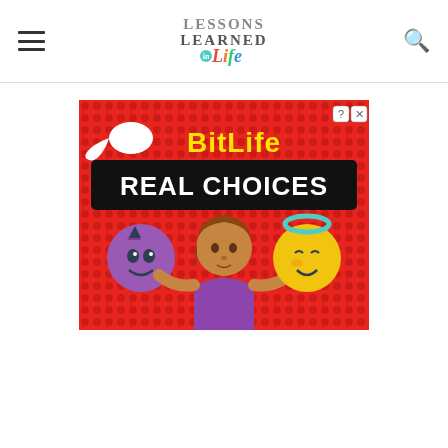Lessons Learned in Life
[Figure (screenshot): BitLife - Real Choices advertisement banner with emoji characters: a woman holding a devil emoji and an angel emoji on a red dotted background]